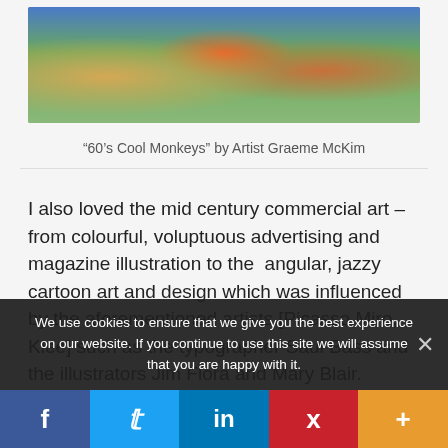[Figure (illustration): Colorful mid-century style painting showing outdoor scene with baskets, fire bowl, and decorative elements — '60s Cool Monkeys' by Artist Graeme McKim]
‘60’s Cool Monkeys” by Artist Graeme McKim
I also loved the mid century commercial art – from colourful, voluptuous advertising and magazine illustration to the  angular, jazzy cartoon art and design which was influenced by the aforementioned artists [Picasso,Miro, Klee] such as the typographer Saul Bass and the illustrators Jim Flora and Mary Blair.
We use cookies to ensure that we give you the best experience on our website. If you continue to use this site we will assume that you are happy with it.